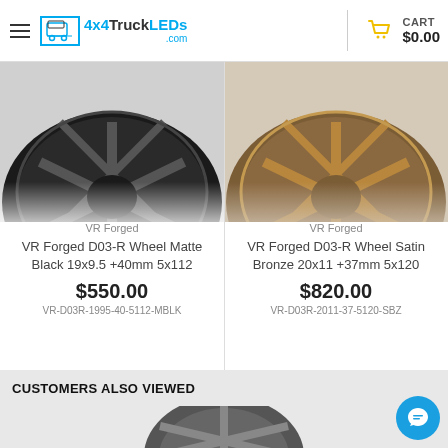4x4TruckLEDs.com — CART $0.00
[Figure (photo): VR Forged D03-R Wheel in Matte Black finish, close-up showing spokes and rim design]
[Figure (photo): VR Forged D03-R Wheel in Satin Bronze finish, close-up showing spokes and rim design]
VR Forged
VR Forged D03-R Wheel Matte Black 19x9.5 +40mm 5x112
$550.00
VR-D03R-1995-40-5112-MBLK
VR Forged
VR Forged D03-R Wheel Satin Bronze 20x11 +37mm 5x120
$820.00
VR-D03R-2011-37-5120-SBZ
CUSTOMERS ALSO VIEWED
[Figure (photo): Partial view of another wheel product at the bottom of the page]